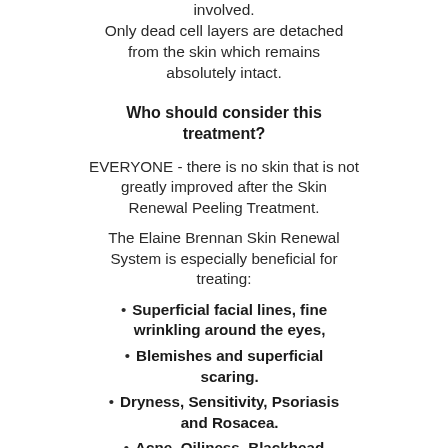involved. Only dead cell layers are detached from the skin which remains absolutely intact.
Who should consider this treatment?
EVERYONE - there is no skin that is not greatly improved after the Skin Renewal Peeling Treatment.
The Elaine Brennan Skin Renewal System is especially beneficial for treating:
Superficial facial lines, fine wrinkling around the eyes,
Blemishes and superficial scaring.
Dryness, Sensitivity, Psoriasis and Rosacea.
Acne, Oiliness, Blackhead